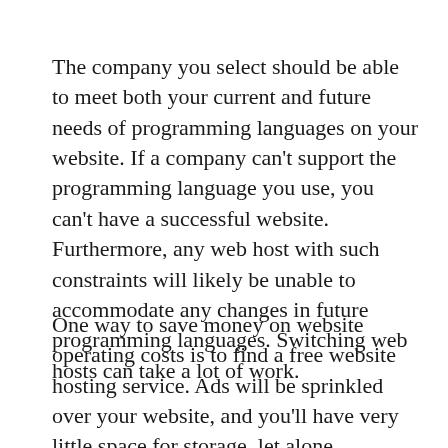The company you select should be able to meet both your current and future needs of programming languages on your website. If a company can't support the programming language you use, you can't have a successful website. Furthermore, any web host with such constraints will likely be unable to accommodate any changes in future programming languages. Switching web hosts can take a lot of work.
One way to save money on website operating costs is to find a free website hosting service. Ads will be sprinkled over your website, and you'll have very little space for storage, let alone bandwidth for visitors. If you require lots of space or a professional look, this type of hosting probably isn't best for your site.
Ask any host you are researching how many email addresses you can have with the plan you were considering. POP 3 email services are usually sufficient for most communication. These kinds of email